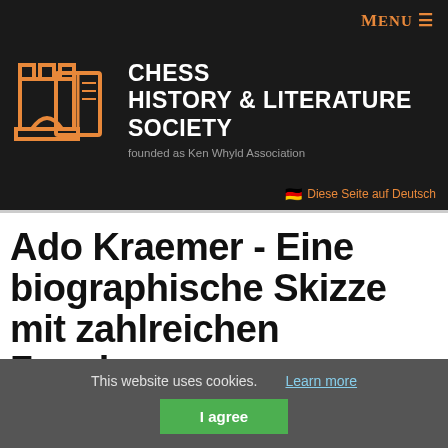[Figure (logo): Chess History & Literature Society logo with orange rook and book icons on dark background, with 'MENU ≡' in orange top right]
Ado Kraemer - Eine biographische Skizze mit zahlreichen Zugaben
by Ralf J. Binnewirtz
This website uses cookies.  Learn more  I agree